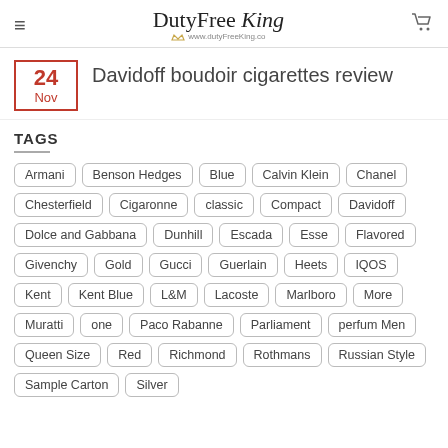DutyFree King www.dutyFreeKing.co
Davidoff boudoir cigarettes review
TAGS
Armani
Benson Hedges
Blue
Calvin Klein
Chanel
Chesterfield
Cigaronne
classic
Compact
Davidoff
Dolce and Gabbana
Dunhill
Escada
Esse
Flavored
Givenchy
Gold
Gucci
Guerlain
Heets
IQOS
Kent
Kent Blue
L&M
Lacoste
Marlboro
More
Muratti
one
Paco Rabanne
Parliament
perfum Men
Queen Size
Red
Richmond
Rothmans
Russian Style
Sample Carton
Silver